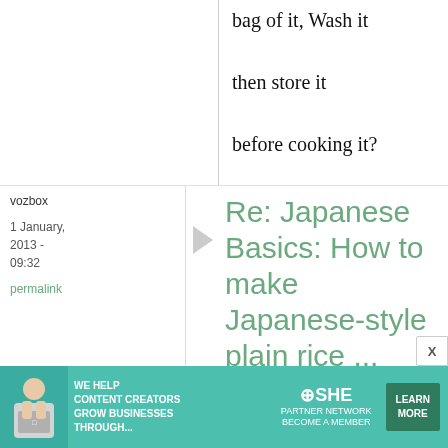bag of it, Wash it then store it before cooking it?
vozbox
1 January, 2013 - 09:32
permalink
Re: Japanese Basics: How to make Japanese-style plain rice ...
[Figure (infographic): Advertisement banner for SHE Media Partner Network. Teal background with woman holding laptop. Text: WE HELP CONTENT CREATORS GROW BUSINESSES THROUGH... SHE PARTNER NETWORK BECOME A MEMBER. LEARN MORE button.]